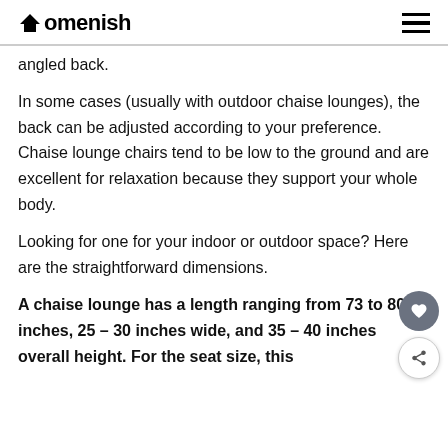Homenish
angled back.
In some cases (usually with outdoor chaise lounges), the back can be adjusted according to your preference. Chaise lounge chairs tend to be low to the ground and are excellent for relaxation because they support your whole body.
Looking for one for your indoor or outdoor space? Here are the straightforward dimensions.
A chaise lounge has a length ranging from 73 to 80 inches, 25 – 30 inches wide, and 35 – 40 inches overall height. For the seat size, this